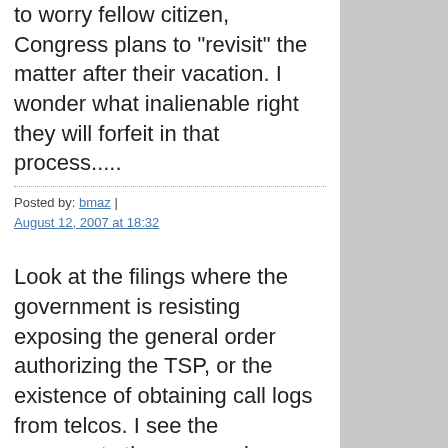to worry fellow citizen, Congress plans to "revisit" the matter after their vacation. I wonder what inalienable right they will forfeit in that process.....
Posted by: bmaz | August 12, 2007 at 18:32
Look at the filings where the government is resisting exposing the general order authorizing the TSP, or the existence of obtaining call logs from telcos. I see the arguments there as saying